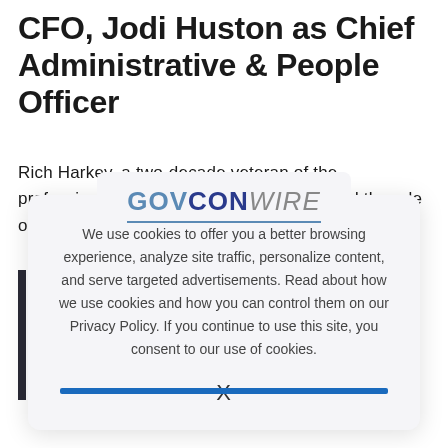CFO, Jodi Huston as Chief Administrative & People Officer
Rich Harkey, a two-decade veteran of the professional services industry, has assumed the role of chief financial offi...
[Figure (screenshot): GovConWire cookie consent modal overlay showing logo and cookie usage notice with close button (X)]
We use cookies to offer you a better browsing experience, analyze site traffic, personalize content, and serve targeted advertisements. Read about how we use cookies and how you can control them on our Privacy Policy. If you continue to use this site, you consent to our use of cookies.
X